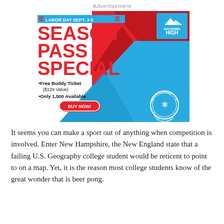Advertisement
[Figure (illustration): Mountain High ski resort advertisement for Labor Day Sept. 3-5 Season Pass Special. Features red and blue diagonal design with mountain silhouette. Text: 'SEASON PASS SPECIAL', 'Free Buddy Ticket ($129 Value)', 'Only 1,500 Available', 'BUY NOW!' button, Powder Alliance badge, Mountain High logo.]
It seems you can make a sport out of anything when competition is involved. Enter New Hampshire, the New England state that a failing U.S. Geography college student would be reticent to point to on a map. Yet, it is the reason most college students know of the great wonder that is beer pong.